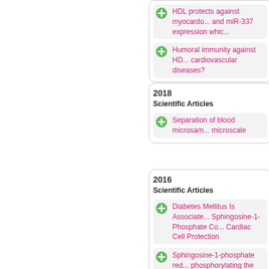HDL protects against myocardio... and miR-337 expression whic...
Humoral immunity against HD... cardiovascular diseases?
2018
Scientific Articles
Separation of blood microsam... microscale
2016
Scientific Articles
Diabetes Mellitus Is Associate... Sphingosine-1-Phosphate Co... Cardiac Cell Protection
Sphingosine-1-phosphate red... phosphorylating the gap juncti...